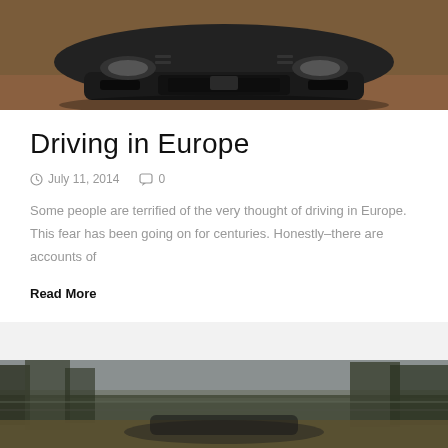[Figure (photo): Close-up front view of a dark sports car on a sandy/brown road surface]
Driving in Europe
July 11, 2014   0
Some people are terrified of the very thought of driving in Europe. This fear has been going on for centuries. Honestly–there are accounts of
Read More
[Figure (photo): Blurred action photo of a car driving on a road with trees in background]